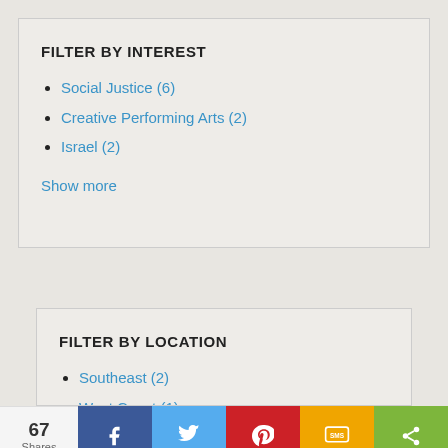FILTER BY INTEREST
Social Justice (6)
Creative Performing Arts (2)
Israel (2)
Show more
FILTER BY LOCATION
Southeast (2)
West Coast (1)
67 Shares  [Facebook] [Twitter] [Pinterest] [SMS] [Share]